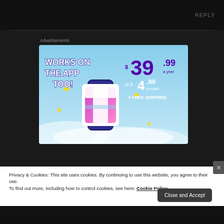REPLY
Advertisements
[Figure (illustration): Tumblr advertisement banner with sky background. Shows 'WORKS ON THE APP TOO!' text in white, Tumblr 't' logo with sparkles, and pricing: $39.99 a year or $4.99 a month + FREE SHIPPING]
Privacy & Cookies: This site uses cookies. By continuing to use this website, you agree to their use.
To find out more, including how to control cookies, see here: Cookie Policy
Close and Accept